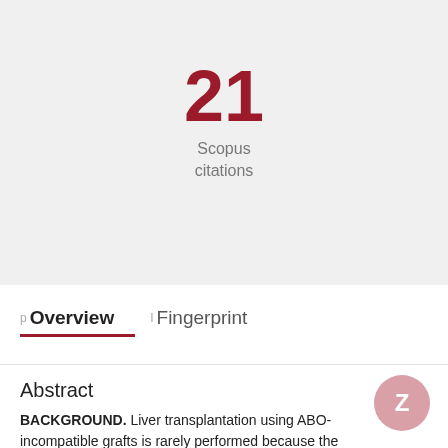21
Scopus citations
p Overview   I Fingerprint
Abstract
BACKGROUND. Liver transplantation using ABO-incompatible grafts is rarely performed because the